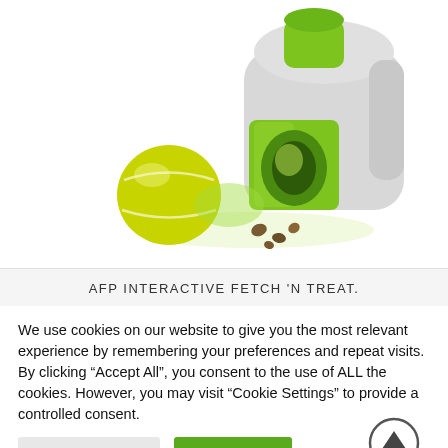[Figure (photo): AFP Interactive Fetch N Treat ball launcher device — a grey and green automatic ball launcher with a tennis ball and dog treats in front of it, on a white background.]
AFP INTERACTIVE FETCH 'N TREAT.
We use cookies on our website to give you the most relevant experience by remembering your preferences and repeat visits. By clicking “Accept All”, you consent to the use of ALL the cookies. However, you may visit "Cookie Settings" to provide a controlled consent.
Cookie Settings | Accept All